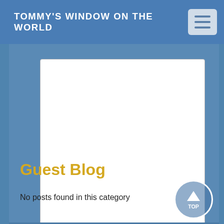TOMMY'S WINDOW ON THE WORLD
[Figure (screenshot): Empty white textarea/comment input box with resize handle in bottom right corner]
Post Comment
Guest Blog
No posts found in this category